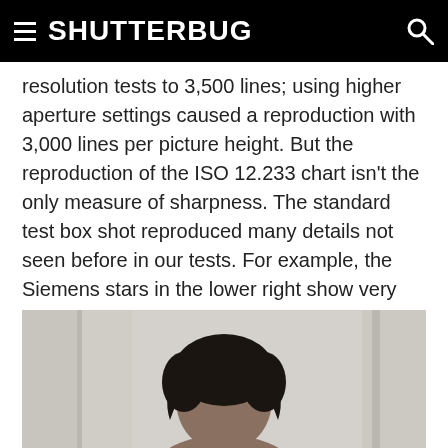SHUTTERBUG
resolution tests to 3,500 lines; using higher aperture settings caused a reproduction with 3,000 lines per picture height. But the reproduction of the ISO 12.233 chart isn't the only measure of sharpness. The standard test box shot reproduced many details not seen before in our tests. For example, the Siemens stars in the lower right show very tiny digits that we had not seen in previous tests.
[Figure (photo): Portrait photograph of a person with dark hair against a light/curtain background]